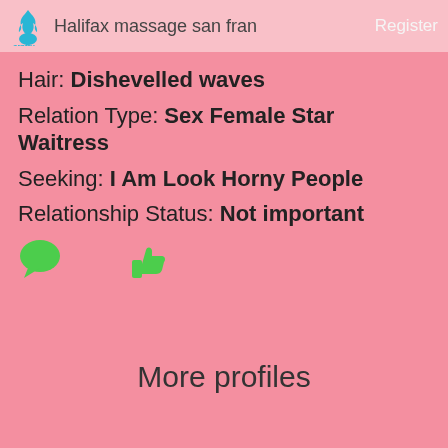Halifax massage san fran | Register
Hair: Dishevelled waves
Relation Type: Sex Female Star Waitress
Seeking: I Am Look Horny People
Relationship Status: Not important
[Figure (illustration): Green chat bubble icon and green thumbs up icon]
More profiles